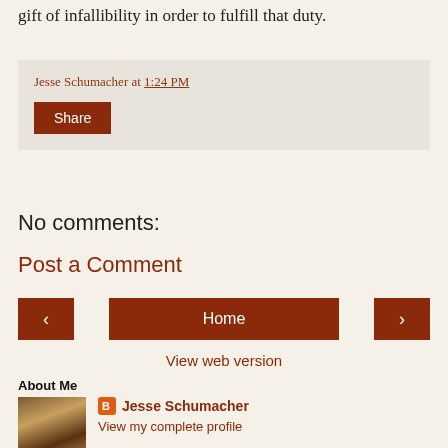gift of infallibility in order to fulfill that duty.
Jesse Schumacher at 1:24 PM
Share
No comments:
Post a Comment
Home
View web version
About Me
[Figure (photo): Profile photo of a bearded elderly man writing by candlelight]
Jesse Schumacher
View my complete profile